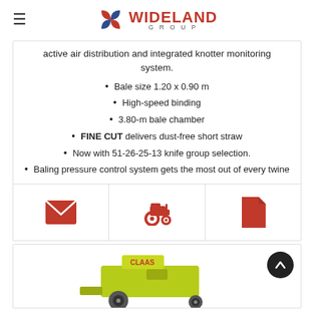Wideland Group
active air distribution and integrated knotter monitoring system.
Bale size 1.20 x 0.90 m
High-speed binding
3.80-m bale chamber
FINE CUT delivers dust-free short straw
Now with 51-26-25-13 knife group selection.
Baling pressure control system gets the most out of every twine
[Figure (illustration): Three red icons: envelope/email, tractor, document/file]
[Figure (photo): Yellow-green CLAAS agricultural baler machine, partial view at bottom of page]